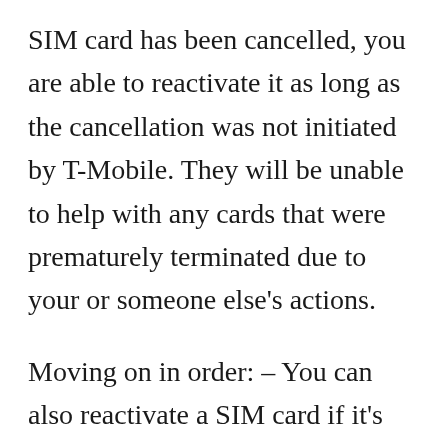SIM card has been cancelled, you are able to reactivate it as long as the cancellation was not initiated by T-Mobile. They will be unable to help with any cards that were prematurely terminated due to your or someone else's actions.
Moving on in order: – You can also reactivate a SIM card if it's been less than 60 days since purchase–just make sure you provide accurate information such as the email address used during initial activation and phone number attached (if applicable). – Your new PIN will also be delivered via text